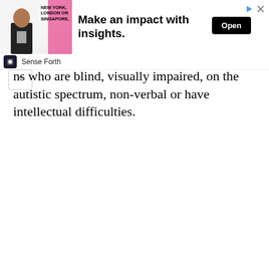[Figure (other): Advertisement banner: image of a person in a suit on a pink/grey background with text 'NEW YORK, LONDON OR SINGAPORE,' alongside bold headline 'Make an impact with insights.' and an 'Open' button. Sponsored by Sense Forth.]
ns who are blind, visually impaired, on the autistic spectrum, non-verbal or have intellectual difficulties.